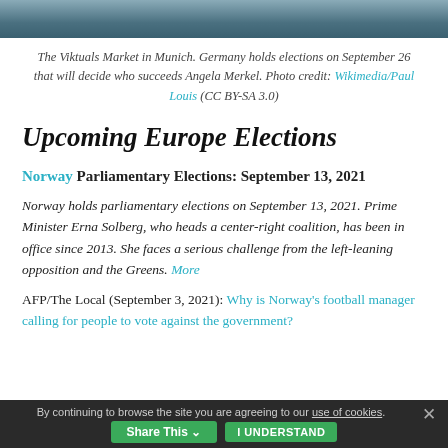[Figure (photo): Top strip showing a partial photo, likely the Viktuals Market in Munich]
The Viktuals Market in Munich. Germany holds elections on September 26 that will decide who succeeds Angela Merkel. Photo credit: Wikimedia/Paul Louis (CC BY-SA 3.0)
Upcoming Europe Elections
Norway Parliamentary Elections: September 13, 2021
Norway holds parliamentary elections on September 13, 2021. Prime Minister Erna Solberg, who heads a center-right coalition, has been in office since 2013. She faces a serious challenge from the left-leaning opposition and the Greens. More
AFP/The Local (September 3, 2021): Why is Norway's football manager calling for people to vote against the government?
By continuing to browse the site you are agreeing to our use of cookies.